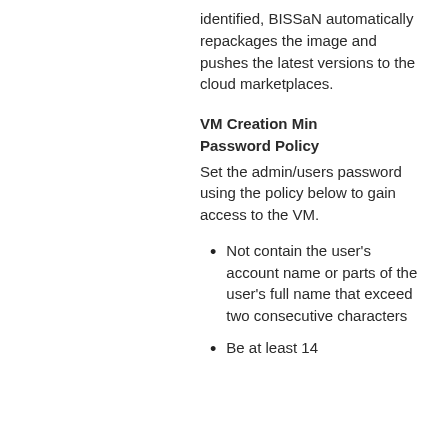identified, BISSaN automatically repackages the image and pushes the latest versions to the cloud marketplaces.
VM Creation Min Password Policy
Set the admin/users password using the policy below to gain access to the VM.
Not contain the user's account name or parts of the user's full name that exceed two consecutive characters
Be at least 14